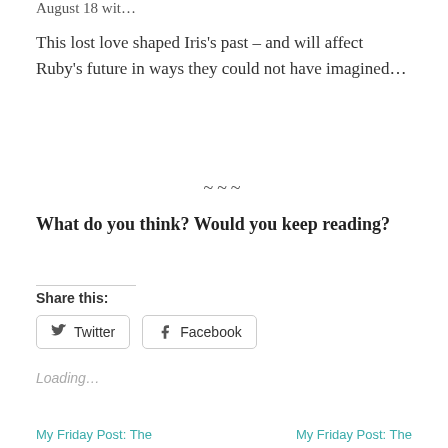August 18 wit…
This lost love shaped Iris's past – and will affect Ruby's future in ways they could not have imagined…
~~~
What do you think? Would you keep reading?
Share this:
Twitter  Facebook
Loading…
My Friday Post: The   My Friday Post: The